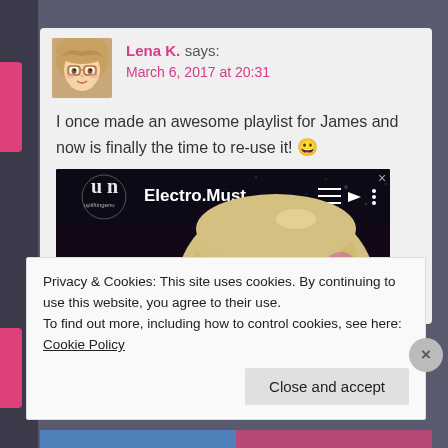Lena K. says:
March 6, 2017 at 20:31
I once made an awesome playlist for James and now is finally the time to re-use it! 😀
[Figure (screenshot): Video thumbnail showing anime girl with blonde hair and text 'Electro.Must....' with playlist icon, dark background]
Privacy & Cookies: This site uses cookies. By continuing to use this website, you agree to their use.
To find out more, including how to control cookies, see here: Cookie Policy
Close and accept